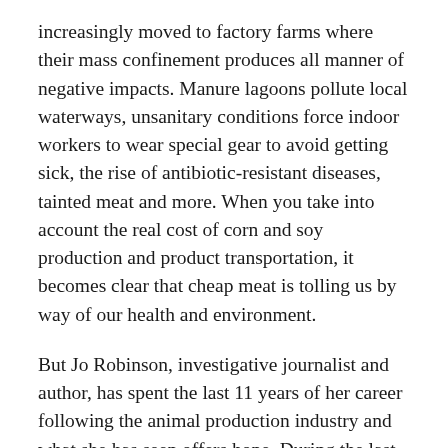increasingly moved to factory farms where their mass confinement produces all manner of negative impacts. Manure lagoons pollute local waterways, unsanitary conditions force indoor workers to wear special gear to avoid getting sick, the rise of antibiotic-resistant diseases, tainted meat and more. When you take into account the real cost of corn and soy production and product transportation, it becomes clear that cheap meat is tolling us by way of our health and environment.
But Jo Robinson, investigative journalist and author, has spent the last 11 years of her career following the animal production industry and what she has seen offers hope. During the last 10 years, the grass-fed beef market has grown from zero to 5% of the $60 billion beef industry, she says. “In just a short period of time, we’re getting excellent progress,” she says. With the help of local